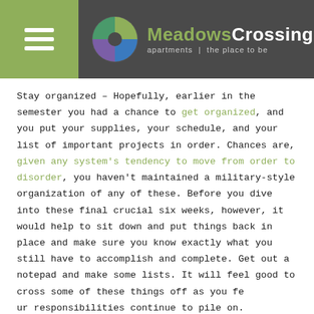MeadowsCrossing apartments | the place to be
Stay organized – Hopefully, earlier in the semester you had a chance to get organized, and you put your supplies, your schedule, and your list of important projects in order. Chances are, given any system's tendency to move from order to disorder, you haven't maintained a military-style organization of any of these. Before you dive into these final crucial six weeks, however, it would help to sit down and put things back in place and make sure you know exactly what you still have to accomplish and complete. Get out a notepad and make some lists. It will feel good to cross some of these things off as you feel your responsibilities continue to pile on.
Study – You may be tempted to blow off some reading and research until it has to be done. It's true that some people